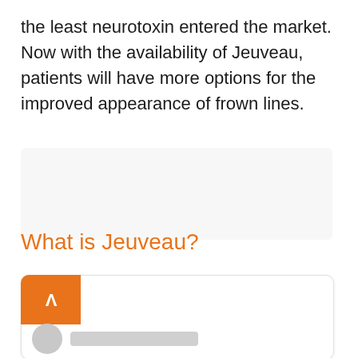the least neurotoxin entered the market. Now with the availability of Jeuveau, patients will have more options for the improved appearance of frown lines.
[Figure (illustration): Faded gray background image placeholder area]
What is Jeuveau?
[Figure (screenshot): Card UI element with orange button containing a caret/arrow icon, and a user avatar with a gray name bar below]